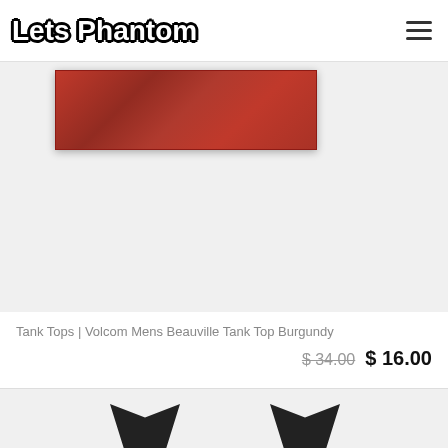Lets Phantom
[Figure (photo): Burgundy/red fabric tank top product image cropped at top, shown against light gray background]
Tank Tops | Volcom Mens Beauville Tank Top Burgundy
$ 34.00  $ 16.00
[Figure (photo): Partial product card showing two dark silhouette figures at bottom, light gray background]